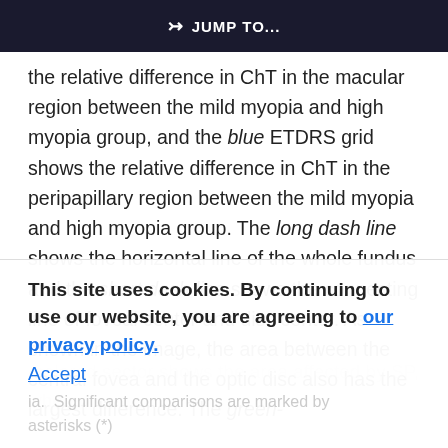JUMP TO...
the relative difference in ChT in the macular region between the mild myopia and high myopia group, and the blue ETDRS grid shows the relative difference in ChT in the peripapillary region between the mild myopia and high myopia group. The long dash line shows the horizontal line of the whole fundus and the short dash line shows the connecting line of foveal center and disc center. As shown in the image, the area between the central fovea and the optic disc also has the largest difference. The green-
-colored sector shows the area affected by SP, where... Significant comparisons are marked by asterisks (*).
This site uses cookies. By continuing to use our website, you are agreeing to our privacy policy. Accept